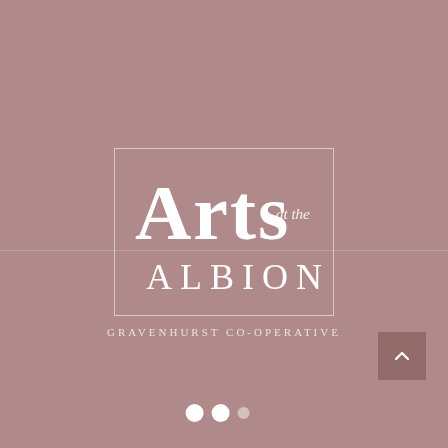[Figure (logo): Arts at the Albion Gravenhurst Co-operative logo. Large stylized white 'ARTS' text with italic 'at the' beside it, 'ALBION' in spaced capitals below, all inside a thin white rectangle border. Subtitle 'GRAVENHURST CO-OPERATIVE' in small spaced caps below the box. Background is muted rose/mauve color.]